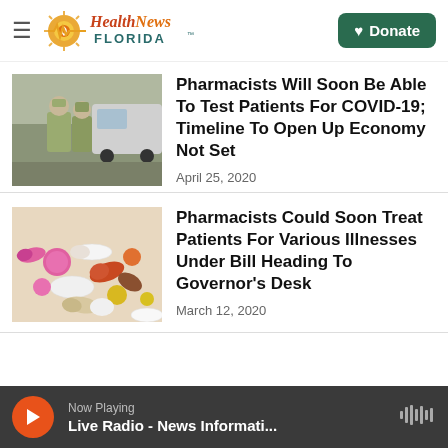Health News Florida
[Figure (photo): Two healthcare workers in PPE at a COVID-19 drive-through testing site beside a vehicle]
Pharmacists Will Soon Be Able To Test Patients For COVID-19; Timeline To Open Up Economy Not Set
April 25, 2020
[Figure (photo): A colorful pile of assorted pills and capsules including pink, orange, white, and yellow tablets]
Pharmacists Could Soon Treat Patients For Various Illnesses Under Bill Heading To Governor's Desk
March 12, 2020
Now Playing — Live Radio - News Informati...